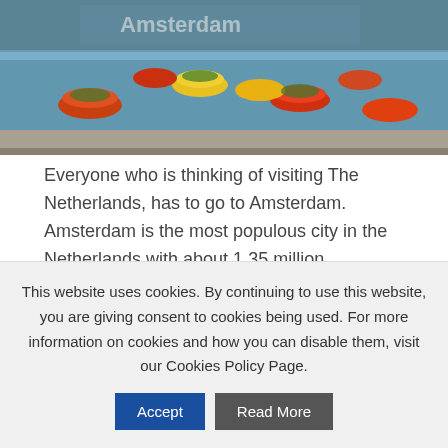[Figure (photo): Amsterdam city scene with colorful flower arrangements floating on a canal, crowd of people, and 'Amsterdam' signage in the background]
Everyone who is thinking of visiting The Netherlands, has to go to Amsterdam. Amsterdam is the most populous city in the Netherlands with about 1.35 million inhabitants in the urban area. It's easy to fly to Amsterdam from Dublin (flight time about 1h 40 minutes) – it is a perfect stop for a short trip [...]
This website uses cookies. By continuing to use this website, you are giving consent to cookies being used. For more information on cookies and how you can disable them, visit our Cookies Policy Page.